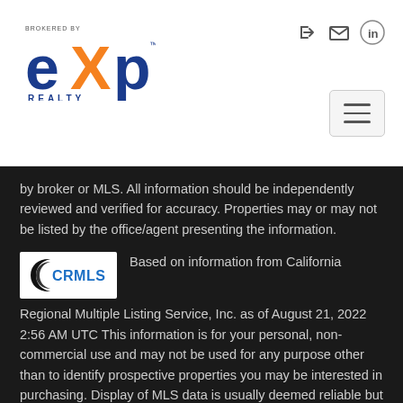[Figure (logo): eXp Realty logo — 'BROKERED BY' text above, large stylized 'eXp' with orange accent, 'REALTY' below]
[Figure (other): Navigation icons: sign-in arrow, envelope, LinkedIn circle; hamburger menu button]
by broker or MLS. All information should be independently reviewed and verified for accuracy. Properties may or may not be listed by the office/agent presenting the information.
[Figure (logo): CRMLS logo — black crescent shape with blue CRMLS text on white background]
Based on information from California Regional Multiple Listing Service, Inc. as of August 21, 2022 2:56 AM UTC This information is for your personal, non-commercial use and may not be used for any purpose other than to identify prospective properties you may be interested in purchasing. Display of MLS data is usually deemed reliable but is NOT guaranteed accurate by the MLS. Buyers are responsible for verifying the accuracy of all information and should investigate